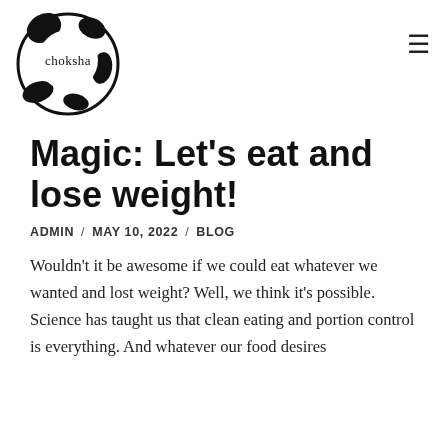[Figure (logo): Choksha logo: a circular black and white emblem with the text 'choksha' in the center]
Magic: Let’s eat and lose weight!
ADMIN / MAY 10, 2022 / BLOG
Wouldn’t it be awesome if we could eat whatever we wanted and lost weight? Well, we think it’s possible. Science has taught us that clean eating and portion control is everything. And whatever our food desires